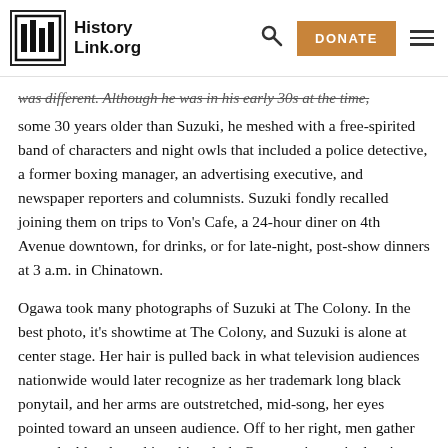HistoryLink.org | DONATE
was different. Although he was in his early 30s at the time, some 30 years older than Suzuki, he meshed with a free-spirited band of characters and night owls that included a police detective, a former boxing manager, an advertising executive, and newspaper reporters and columnists. Suzuki fondly recalled joining them on trips to Von's Cafe, a 24-hour diner on 4th Avenue downtown, for drinks, or for late-night, post-show dinners at 3 a.m. in Chinatown.
Ogawa took many photographs of Suzuki at The Colony. In the best photo, it's showtime at The Colony, and Suzuki is alone at center stage. Her hair is pulled back in what television audiences nationwide would later recognize as her trademark long black ponytail, and her arms are outstretched, mid-song, her eyes pointed toward an unseen audience. Off to her right, men gather around tables draped in white cloth. One man in particular sits with his legs crossed, eyes fixed on Suzuki, and smiling wide as she appears to nail a long and high note. He enjoys the show more than anyone else.